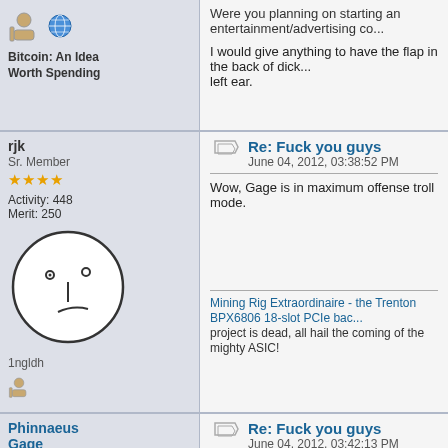Bitcoin: An Idea Worth Spending
Were you planning on starting an entertainment/advertising co...
I would give anything to have the flap in the back of dick... left ear.
rjk
Sr. Member
Activity: 448
Merit: 250
Re: Fuck you guys
June 04, 2012, 03:38:52 PM
Wow, Gage is in maximum offense troll mode.
1ngldh
Mining Rig Extraordinaire - the Trenton BPX6806 18-slot PCIe bac... project is dead, all hail the coming of the mighty ASIC!
Phinnaeus Gage
Legendary
Re: Fuck you guys
June 04, 2012, 03:42:13 PM
Quote from: rjk on June 04, 2012, 03:38:52 PM
Wow, Gage is in maximum offense troll mode.